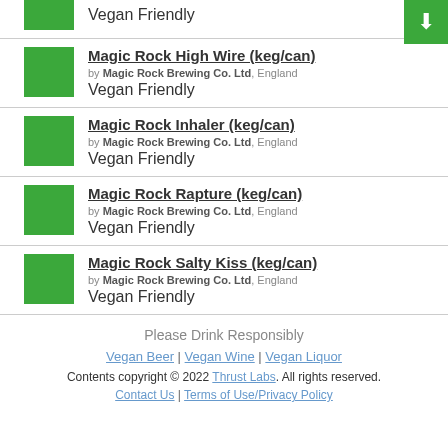Vegan Friendly (top partial item)
Magic Rock High Wire (keg/can) by Magic Rock Brewing Co. Ltd, England — Vegan Friendly
Magic Rock Inhaler (keg/can) by Magic Rock Brewing Co. Ltd, England — Vegan Friendly
Magic Rock Rapture (keg/can) by Magic Rock Brewing Co. Ltd, England — Vegan Friendly
Magic Rock Salty Kiss (keg/can) by Magic Rock Brewing Co. Ltd, England — Vegan Friendly
Please Drink Responsibly
Vegan Beer | Vegan Wine | Vegan Liquor
Contents copyright © 2022 Thrust Labs. All rights reserved.
Contact Us | Terms of Use/Privacy Policy